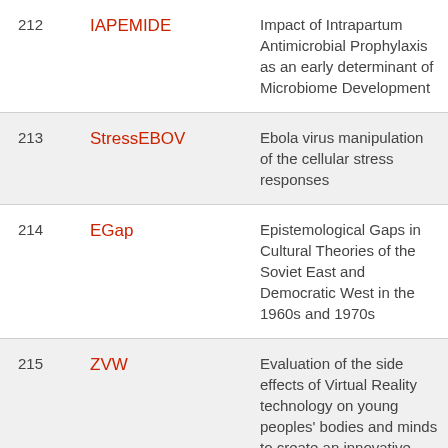| # | Acronym | Description |
| --- | --- | --- |
| 212 | IAPEMIDE | Impact of Intrapartum Antimicrobial Prophylaxis as an early determinant of Microbiome Development |
| 213 | StressEBOV | Ebola virus manipulation of the cellular stress responses |
| 214 | EGap | Epistemological Gaps in Cultural Theories of the Soviet East and Democratic West in the 1960s and 1970s |
| 215 | ZVW | Evaluation of the side effects of Virtual Reality technology on young peoples' bodies and minds to create an innovative solution to |